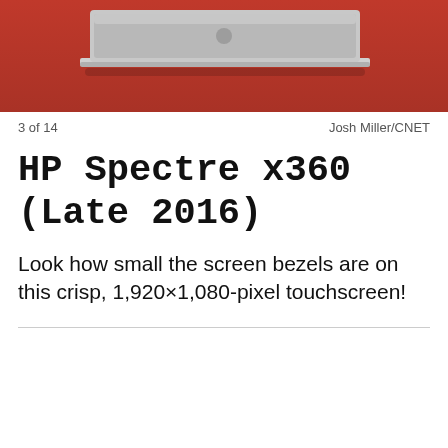[Figure (photo): Top portion of an HP Spectre x360 laptop closed on a red surface, showing the silver lid and hinge area.]
3 of 14	Josh Miller/CNET
HP Spectre x360 (Late 2016)
Look how small the screen bezels are on this crisp, 1,920×1,080-pixel touchscreen!